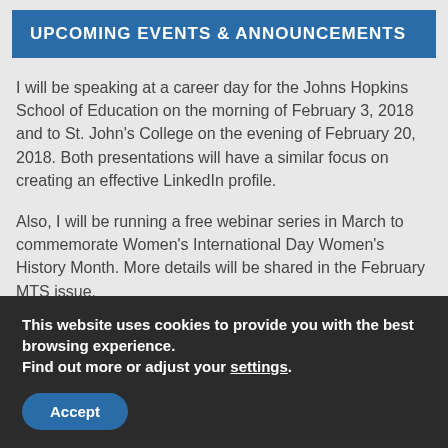UPCOMING EVENTS & ANNOUNCEMENTS
I will be speaking at a career day for the Johns Hopkins School of Education on the morning of February 3, 2018 and to St. John's College on the evening of February 20, 2018. Both presentations will have a similar focus on creating an effective LinkedIn profile.
Also, I will be running a free webinar series in March to commemorate Women's International Day Women's History Month. More details will be shared in the February MTS issue.
Purchase a copy of the 3rd Edition of The Essential Guide to
This website uses cookies to provide you with the best browsing experience.
Find out more or adjust your settings.